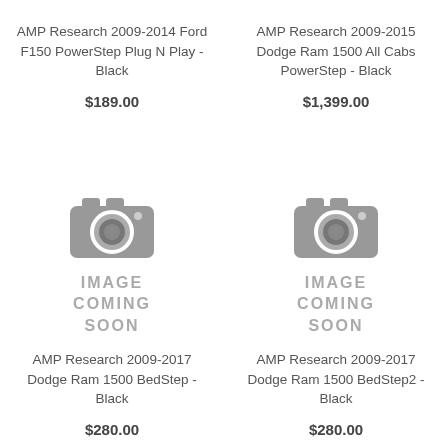AMP Research 2009-2014 Ford F150 PowerStep Plug N Play - Black
$189.00
AMP Research 2009-2015 Dodge Ram 1500 All Cabs PowerStep - Black
$1,399.00
[Figure (illustration): Camera placeholder icon with 'IMAGE COMING SOON' text]
AMP Research 2009-2017 Dodge Ram 1500 BedStep - Black
$280.00
[Figure (illustration): Camera placeholder icon with 'IMAGE COMING SOON' text]
AMP Research 2009-2017 Dodge Ram 1500 BedStep2 - Black
$280.00